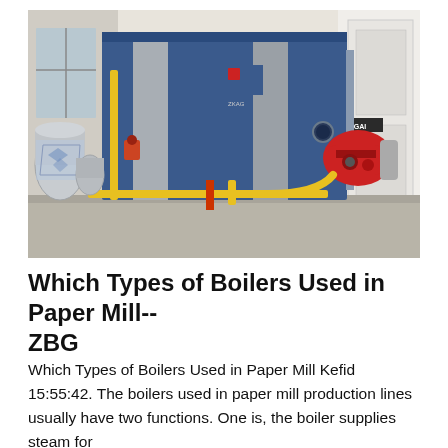[Figure (photo): Industrial boiler unit in a facility — a large blue rectangular boiler body with silver/metallic panels, yellow gas pipes running along the floor and connecting to a red burner assembly on the right side. Cylindrical tanks visible on the left, white wall panels on the right background, concrete floor.]
Which Types of Boilers Used in Paper Mill-- ZBG
Which Types of Boilers Used in Paper Mill Kefid 15:55:42. The boilers used in paper mill production lines usually have two functions. One is, the boiler supplies steam for